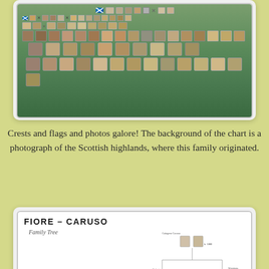[Figure (other): A family tree chart with crests, flags, and photos on a Scottish highland photograph background]
Crests and flags and photos galore!  The background of the chart is a photograph of the Scottish highlands, where this family originated.
[Figure (other): Fiore-Caruso Family Tree chart with Italian flag, Italy map shape, and family photos arranged in a genealogical tree layout]